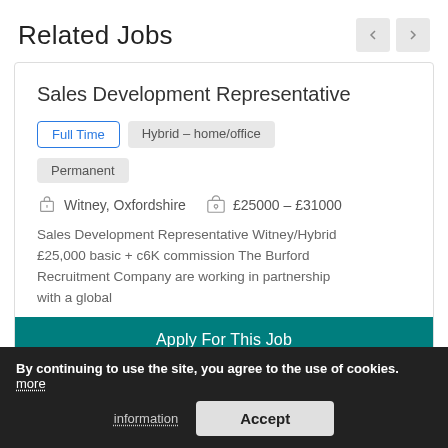Related Jobs
Sales Development Representative
Full Time
Hybrid – home/office
Permanent
Witney, Oxfordshire   £25000 – £31000
Sales Development Representative Witney/Hybrid £25,000 basic + c6K commission The Burford Recruitment Company are working in partnership with a global
Apply For This Job
By continuing to use the site, you agree to the use of cookies. more information
Accept